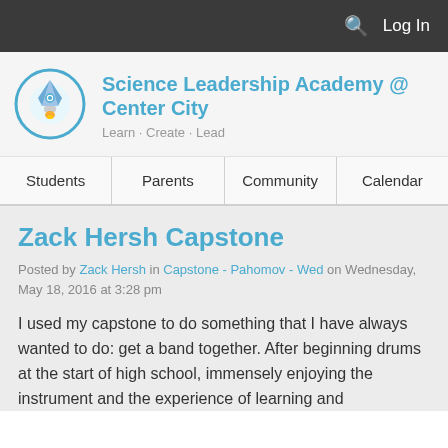Log In
[Figure (logo): Science Leadership Academy rocket logo in a blue circle]
Science Leadership Academy @ Center City
Learn · Create · Lead
Students | Parents | Community | Calendar
Zack Hersh Capstone
Posted by Zack Hersh in Capstone - Pahomov - Wed on Wednesday, May 18, 2016 at 3:28 pm
I used my capstone to do something that I have always wanted to do: get a band together. After beginning drums at the start of high school, immensely enjoying the instrument and the experience of learning and